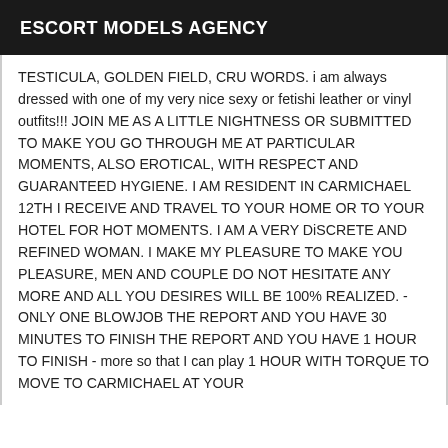ESCORT MODELS AGENCY
TESTICULA, GOLDEN FIELD, CRU WORDS. i am always dressed with one of my very nice sexy or fetishi leather or vinyl outfits!!! JOIN ME AS A LITTLE NIGHTNESS OR SUBMITTED TO MAKE YOU GO THROUGH ME AT PARTICULAR MOMENTS, ALSO EROTICAL, WITH RESPECT AND GUARANTEED HYGIENE. I AM RESIDENT IN CARMICHAEL 12TH I RECEIVE AND TRAVEL TO YOUR HOME OR TO YOUR HOTEL FOR HOT MOMENTS. I AM A VERY DiSCRETE AND REFINED WOMAN. I MAKE MY PLEASURE TO MAKE YOU PLEASURE, MEN AND COUPLE DO NOT HESITATE ANY MORE AND ALL YOU DESIRES WILL BE 100% REALIZED. - ONLY ONE BLOWJOB THE REPORT AND YOU HAVE 30 MINUTES TO FINISH THE REPORT AND YOU HAVE 1 HOUR TO FINISH - more so that I can play 1 HOUR WITH TORQUE TO MOVE TO CARMICHAEL AT YOUR